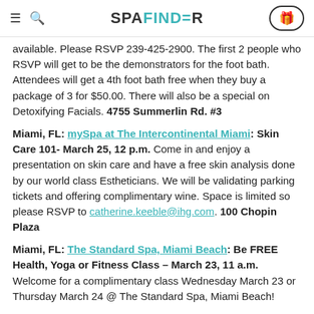SPAFINDER
available.  Please RSVP 239-425-2900.  The first 2 people who RSVP will get to be the demonstrators for the foot bath.  Attendees will get a 4th foot bath free when they buy a package of 3 for $50.00. There will also be a special on Detoxifying Facials. 4755 Summerlin Rd. #3
Miami, FL: mySpa at The Intercontinental Miami: Skin Care 101- March 25, 12 p.m. Come in and enjoy a presentation on skin care and have a free skin analysis done by our world class Estheticians.  We will be validating parking tickets and offering complimentary wine. Space is limited so please RSVP to catherine.keeble@ihg.com.  100 Chopin Plaza
Miami, FL: The Standard Spa, Miami Beach: Be FREE Health, Yoga or Fitness Class – March 23, 11 a.m. Welcome for a complimentary class Wednesday March 23 or Thursday March 24 @ The Standard Spa, Miami Beach!